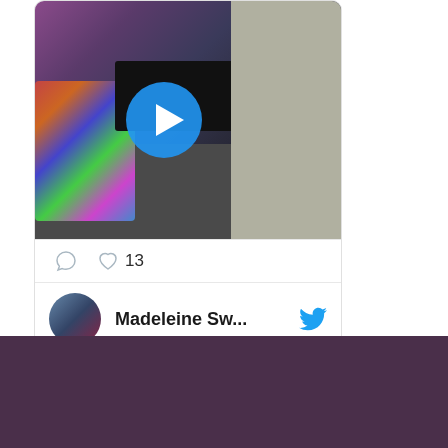[Figure (screenshot): Tweet card showing a video thumbnail of a person in a room with colorful couch and TV, with play button overlay. Below the video are interaction icons (comment and heart with count 13). Author row shows avatar, name 'Madeleine Sw...' and Twitter bird icon.]
Follow Madeleine Swann